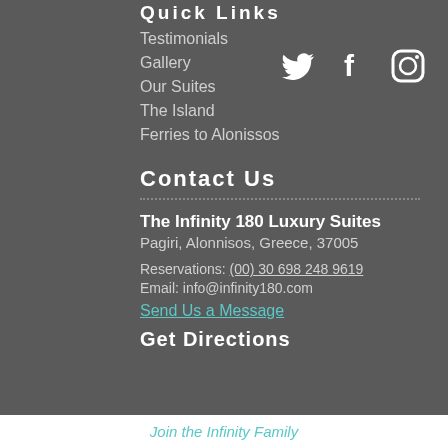Quick Links
Testimonials
Gallery
[Figure (illustration): Social media icons: Twitter bird, Facebook f, Instagram camera outline in white]
Our Suites
The Island
Ferries to Alonissos
Contact Us
The Infinity 180 Luxury Suites
Pagiri, Alonnisos, Greece, 37005
Reservations: (00) 30 698 248 9619
Email: info@infinity180.com
Send Us a Message
Get Directions
Join the Infinity Family